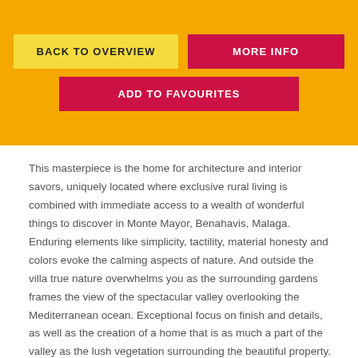BACK TO OVERVIEW | MORE INFO | ADD TO FAVOURITES
This masterpiece is the home for architecture and interior savors, uniquely located where exclusive rural living is combined with immediate access to a wealth of wonderful things to discover in Monte Mayor, Benahavis, Malaga. Enduring elements like simplicity, tactility, material honesty and colors evoke the calming aspects of nature. And outside the villa true nature overwhelms you as the surrounding gardens frames the view of the spectacular valley overlooking the Mediterranean ocean. Exceptional focus on finish and details, as well as the creation of a home that is as much a part of the valley as the lush vegetation surrounding the beautiful property. This property must be viewed to be fully appreciated.